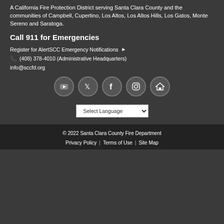A California Fire Protection District serving Santa Clara County and the communities of Campbell, Cupertino, Los Altos, Los Altos Hills, Los Gatos, Monte Sereno and Saratoga.
Call 911 for Emergencies
Register for AlertSCC Emergency Notifications ▶
📞 (408) 378-4010 (Administrative Headquarters)
info@sccfd.org
[Figure (illustration): Social media icons: YouTube, Twitter, Facebook, Instagram, and a house/home icon, displayed as circular buttons]
[Figure (screenshot): Select Language dropdown selector]
© 2022 Santa Clara County Fire Department
Privacy Policy | Terms of Use | Site Map